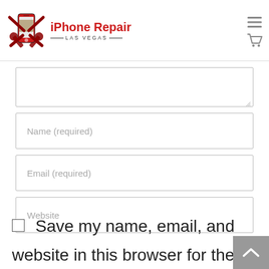[Figure (logo): iPhone Repair Las Vegas logo: red smartphone with wrench tools crossed behind it, brand name in red bold text with LAS VEGAS subtitle]
Name (required)
Email (required)
Website
Save my name, email, and website in this browser for the next time I comment.